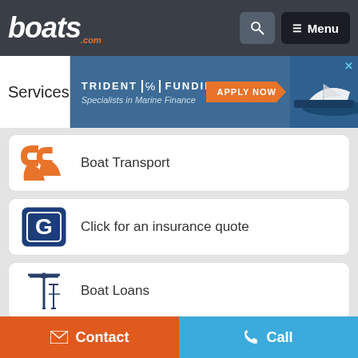boats.com — Search icon — Menu
[Figure (screenshot): Trident Funding advertisement banner — Specialists in Marine Finance — APPLY NOW button with boat image]
Boat Transport
Click for an insurance quote
Boat Loans
Boat Warranty
Contact | Call